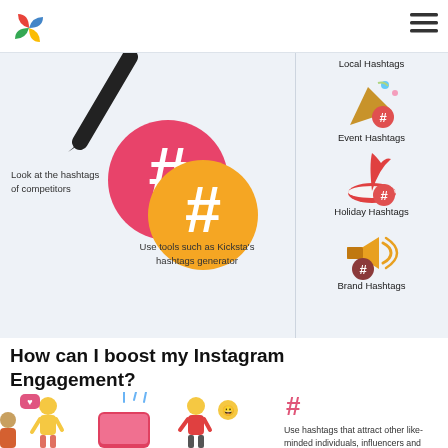[Figure (logo): Colorful pinwheel/flower logo in top left corner]
[Figure (illustration): Hamburger menu icon (three horizontal lines) in top right]
[Figure (illustration): Left column: pencil/pen illustration at top, two overlapping hashtag circles (pink and gold), text labels for competitor hashtags and tools]
Look at the hashtags of competitors
Use tools such as Kicksta's hashtags generator
[Figure (illustration): Right column showing four hashtag category icons: Event Hashtags (party popper), Holiday Hashtags (santa hat), Brand Hashtags (megaphone)]
Local Hashtags
Event Hashtags
Holiday Hashtags
Brand Hashtags
How can I boost my Instagram Engagement?
[Figure (illustration): Bottom illustration showing people using phones/social media with emoji and hashtag symbols]
Use hashtags that attract other like-minded individuals, influencers and brands